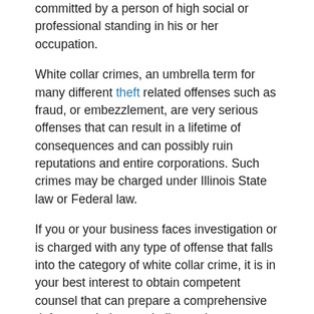committed by a person of high social or professional standing in his or her occupation.
White collar crimes, an umbrella term for many different theft related offenses such as fraud, or embezzlement, are very serious offenses that can result in a lifetime of consequences and can possibly ruin reputations and entire corporations. Such crimes may be charged under Illinois State law or Federal law.
If you or your business faces investigation or is charged with any type of offense that falls into the category of white collar crime, it is in your best interest to obtain competent counsel that can prepare a comprehensive defense to help you challenge these damaging charges. Our firm has defended countless clients against allegations of white collar offenses, and we will thoroughly investigate your case and seek to have your charges dropped if any evidence was gathered through an illegal search and seizure.